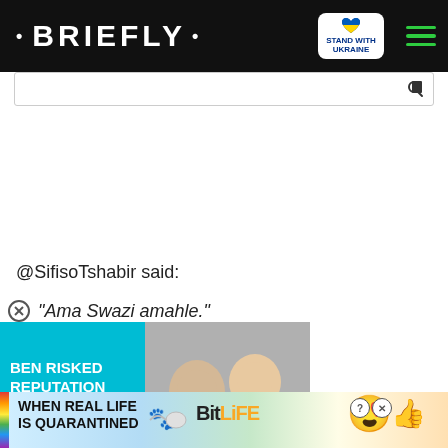• BRIEFLY •
[Figure (screenshot): Search bar area with dark icon on right]
@SifisoTshabir said:
"Ama Swazi amahle."
[Figure (screenshot): Video widget advertisement showing two men and text BEN RISKED REPUTATION FOR ME with play button, and red down-arrow button]
[Figure (screenshot): BitLife bottom advertisement banner with rainbow strip, text WHEN REAL LIFE IS QUARANTINED, BitLife logo and emoji icons]